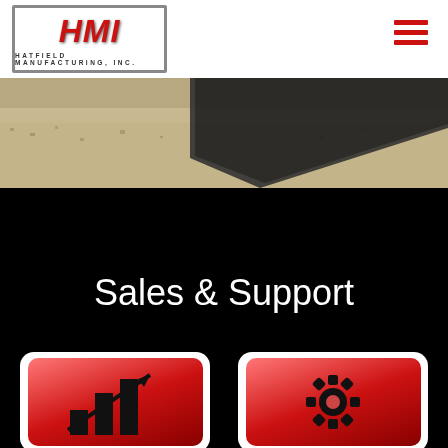[Figure (logo): HMI Hatfield Manufacturing, Inc. logo with red letters on white background with gray border]
[Figure (photo): Construction/excavation photo showing sandy gravel material with a dark bucket or blade edge visible]
Sales & Support
[Figure (illustration): Red glossy button with black bar chart and upward arrow icon]
[Figure (illustration): Red glossy button with black gear/settings icon]